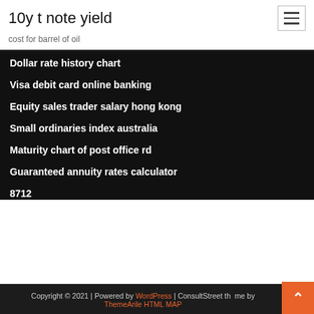10y t note yield
cost for barrel of oil
Dollar rate history chart
Visa debit card online banking
Equity sales trader salary hong kong
Small ordinaries index australia
Maturity chart of post office rd
Guaranteed annuity rates calculator
8712
Copyright © 2021 | Powered by WordPress | ConsultStreet theme by ThemeArile HTML MAP